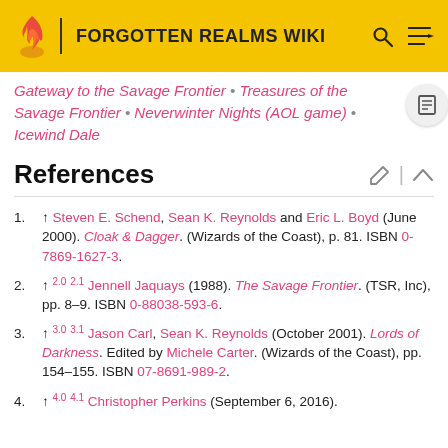FORGOTTEN REALMS WIKI
Gateway to the Savage Frontier • Treasures of the Savage Frontier • Neverwinter Nights (AOL game) • Icewind Dale
References
1. ↑ Steven E. Schend, Sean K. Reynolds and Eric L. Boyd (June 2000). Cloak & Dagger. (Wizards of the Coast), p. 81. ISBN 0-7869-1627-3.
2. ↑ 2.0 2.1 Jennell Jaquays (1988). The Savage Frontier. (TSR, Inc), pp. 8–9. ISBN 0-88038-593-6.
3. ↑ 3.0 3.1 Jason Carl, Sean K. Reynolds (October 2001). Lords of Darkness. Edited by Michele Carter. (Wizards of the Coast), pp. 154–155. ISBN 07-8691-989-2.
4. ↑ 4.0 4.1 Christopher Perkins (September 6, 2016).